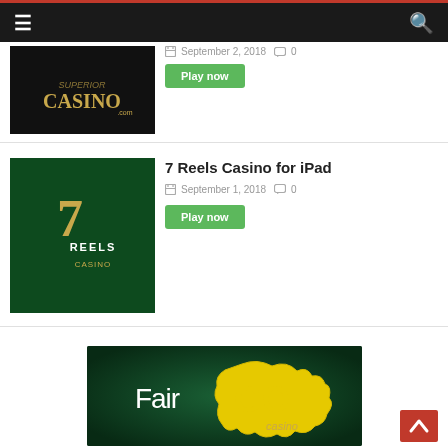Navigation bar with hamburger menu and search icon
[Figure (logo): Superior Casino logo - partial card with gold text on black background]
September 2, 2018   0
Play now
[Figure (logo): 7 Reels Casino logo - gold '7' with REELS CASINO text on dark green background]
7 Reels Casino for iPad
September 1, 2018   0
Play now
[Figure (logo): FairGO Casino logo - white 'Fair' and yellow 'GO' text with yellow Australia map outline on dark green background]